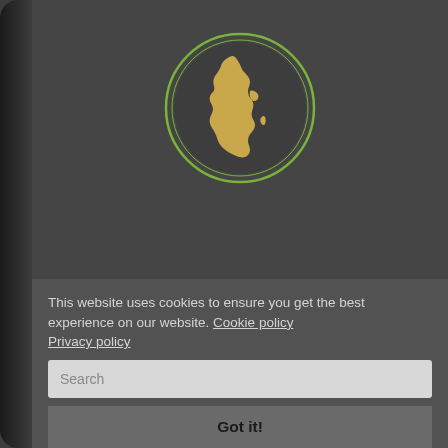[Figure (logo): Circular logo with golden silhouette of Africa continent, surrounded by a thin green circular outline, on dark background]
African Human Rights Yearbook
Annuaire africain des droits de l'homme
This website uses cookies to ensure you get the best experience on our website. Cookie policy
Privacy policy
Got it!